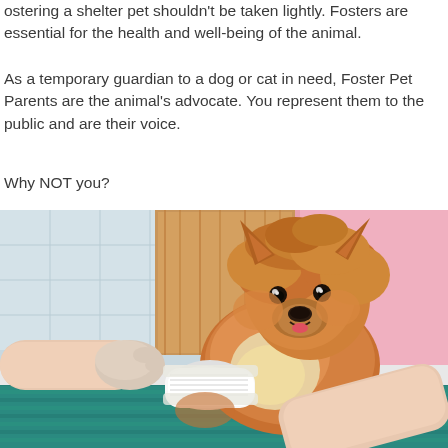Fostering a shelter pet shouldn't be taken lightly. Fosters are essential for the health and well-being of the animal.
As a temporary guardian to a dog or cat in need, Foster Pet Parents are the animal's advocate. You represent them to the public and are their voice.
Why NOT you?
[Figure (photo): A fluffy Pomeranian dog sitting on a teal rug while a person in gloves wraps a bandage around the dog's paw. The background shows a wooden cabinet and pink panel.]